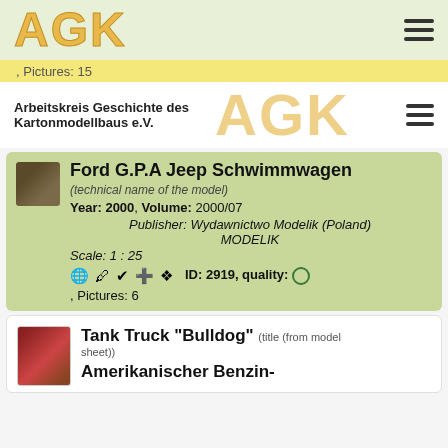AGK
Pictures: 15
Arbeitskreis Geschichte des Kartonmodellbaus e.V.
Ford G.P.A Jeep Schwimmwagen
(technical name of the model)
Year: 2000, Volume: 2000/07
Publisher: Wydawnictwo Modelik (Poland) MODELIK
Scale: 1 : 25
ID: 2919, quality: ○ , Pictures: 6
Tank Truck "Bulldog" (title (from model sheet))
Amerikanischer Benzin-